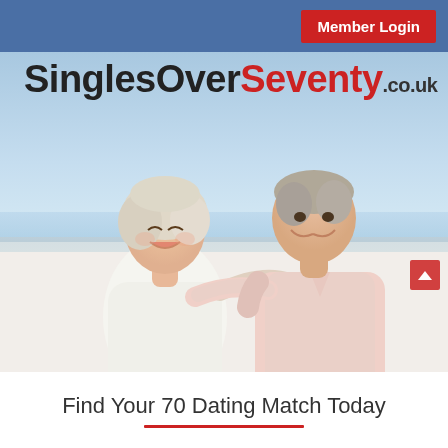Member Login
[Figure (logo): SinglesOverSeventy.co.uk logo with dark text for 'SinglesOver', red text for 'Seventy', and smaller dark text for '.co.uk']
[Figure (photo): Elderly couple smiling and looking at each other at a beach. Woman has white/blonde hair wearing white top. Man has grey hair wearing light pink shirt, arm around woman.]
Find Your 70 Dating Match Today